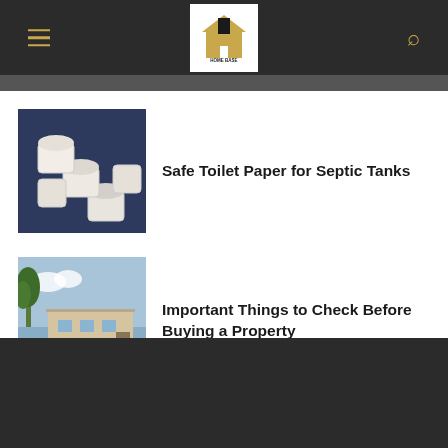Home Base Project
[Figure (photo): Toilet paper rolls stacked on dark blue background]
Safe Toilet Paper for Septic Tanks
[Figure (photo): House exterior with green lawn and palm trees]
Important Things to Check Before Buying a Property